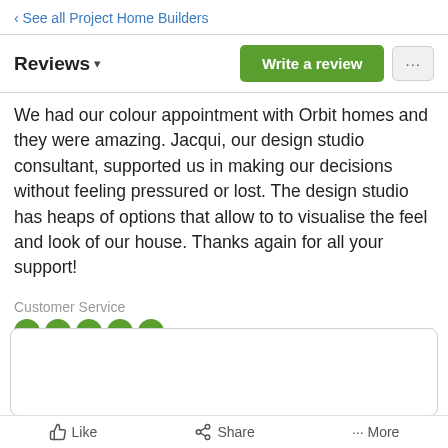‹ See all Project Home Builders
Reviews
We had our colour appointment with Orbit homes and they were amazing. Jacqui, our design studio consultant, supported us in making our decisions without feeling pressured or lost. The design studio has heaps of options that allow to to visualise the feel and look of our house. Thanks again for all your support!
Customer Service
Incentivised Review (?)
No